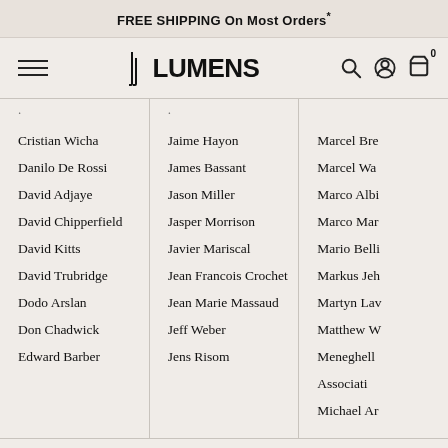FREE SHIPPING On Most Orders*
[Figure (logo): Lumens logo with hamburger menu, search, account, and cart icons in navigation bar]
Cristian Wicha
Danilo De Rossi
David Adjaye
David Chipperfield
David Kitts
David Trubridge
Dodo Arslan
Don Chadwick
Edward Barber
Jaime Hayon
James Bassant
Jason Miller
Jasper Morrison
Javier Mariscal
Jean Francois Crochet
Jean Marie Massaud
Jeff Weber
Jens Risom
Marcel Bre...
Marcel Wa...
Marco Albi...
Marco Mar...
Mario Belli...
Markus Jeh...
Martyn Lav...
Matthew W...
Meneghell Associati
Michael Ar...
All Designers